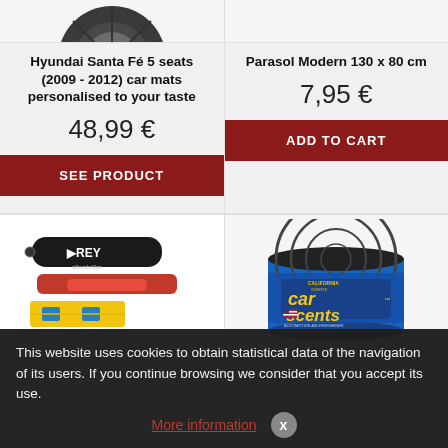[Figure (photo): Partial view of a black tire/wheel at the top left of the page]
Hyundai Santa Fé 5 seats (2009 - 2012) car mats personalised to your taste
48,99 €
SEE PRODUCT
Parasol Modern 130 x 80 cm
7,95 €
ADD TO CART
[Figure (photo): REY alfombrillas car mat kit with red foam separators and yellow reflective vest]
[Figure (photo): California Scents Car Scents automotive air freshener tin can]
This website uses cookies to obtain statistical data of the navigation of its users. If you continue browsing we consider that you accept its use.
More information
x
Kit emergencia Car...
Air freshe...